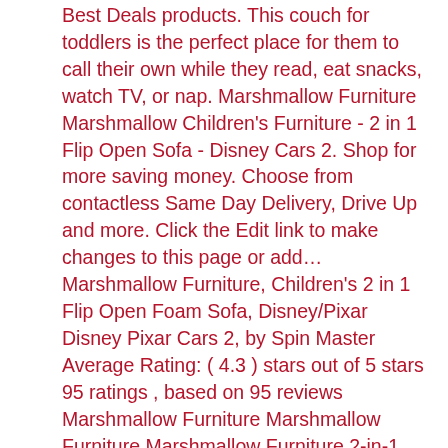Best Deals products. This couch for toddlers is the perfect place for them to call their own while they read, eat snacks, watch TV, or nap. Marshmallow Furniture Marshmallow Children's Furniture - 2 in 1 Flip Open Sofa - Disney Cars 2. Shop for more saving money. Choose from contactless Same Day Delivery, Drive Up and more. Click the Edit link to make changes to this page or add… Marshmallow Furniture, Children's 2 in 1 Flip Open Foam Sofa, Disney/Pixar Disney Pixar Cars 2, by Spin Master Average Rating: ( 4.3 ) stars out of 5 stars 95 ratings , based on 95 reviews Marshmallow Furniture Marshmallow Furniture Marshmallow Furniture 2-in-1 Flip Open Foam Couch Bed Sleeper Sofa Kid's Furniture for Ages 18 Months and Up, The Lion King, Multicolor Amazon on sale for $41.59 original price $44.99 $ 41.59 $44.99 They are usually only set in response to actions made by you which amount to a request for services, such as setting your privacy preferences, logging in or filling in forms. By Baci Living Room | July 9, 2018. Sold and shipped by VM Express. Marshmallow Love Seat #5670, commonly known as the Marshmallow sofa, is a modernist sofa produced by the American furniture company Herman Miller, that was originally manufactured between 1956 and 1961 It is